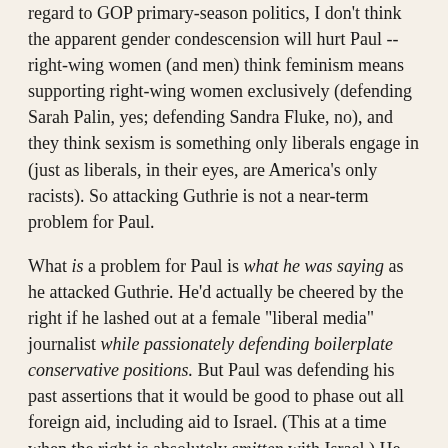regard to GOP primary-season politics, I don't think the apparent gender condescension will hurt Paul -- right-wing women (and men) think feminism means supporting right-wing women exclusively (defending Sarah Palin, yes; defending Sandra Fluke, no), and they think sexism is something only liberals engage in (just as liberals, in their eyes, are America's only racists). So attacking Guthrie is not a near-term problem for Paul.
What is a problem for Paul is what he was saying as he attacked Guthrie. He'd actually be cheered by the right if he lashed out at a female "liberal media" journalist while passionately defending boilerplate conservative positions. But Paul was defending his past assertions that it would be good to phase out all foreign aid, including aid to Israel. (This at a time when the right is absolutely smitten with Israel.) He does say, in the Guthrie interview, that he doesn't want to phase out aid to Israel right away, and he'd rather phase out aid to other, more hostile countries first, and he does point out that Benjamin Netanyahu, in a 1996 speech to Congress, proposed a gradual phaseout of U.S. aid to Israel. But it's nearly twenty years after that speech, and it sure doesn't look as if Netanyahu wants to revisit that idea anytime soon. In the meantime, Rand Paul is still talking favorably about zeroing out